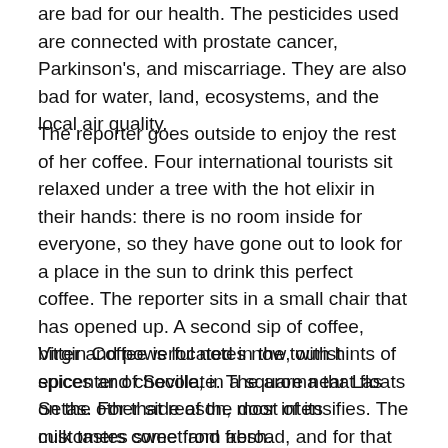are bad for our health. The pesticides used are connected with prostate cancer, Parkinson's, and miscarriage. They are also bad for water, land, ecosystems, and the local air quality.
The reporter goes outside to enjoy the rest of her coffee. Four international tourists sit relaxed under a tree with the hot elixir in their hands: there is no room inside for everyone, so they have gone out to look for a place in the sun to drink this perfect coffee. The reporter sits in a small chair that has opened up. A second sip of coffee, bitter and powerful notes now, with hints of spices and chocolate. The aroma that floats on the other side of the door intensifies. The milk tastes sweet and fresh.
Virgin Coffee is located in the tourist epicenter of Seville, in a square near Las Setas. For that reason, most of its customers come from abroad, and for that same reason, Sevillians do not usually come close to trying this organic coffee. Its price, in itself, is higher than normal coffee. For many inhabitants of the city, it is almost a luxury product, which can only be consumed occasionally. Pedro is aware of this. "At the same time, I